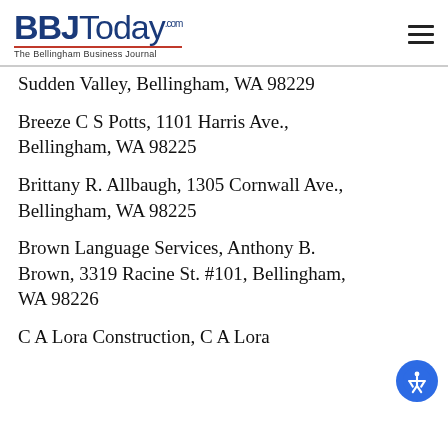BBJToday.com The Bellingham Business Journal
Sudden Valley, Bellingham, WA 98229
Breeze C S Potts, 1101 Harris Ave., Bellingham, WA 98225
Brittany R. Allbaugh, 1305 Cornwall Ave., Bellingham, WA 98225
Brown Language Services, Anthony B. Brown, 3319 Racine St. #101, Bellingham, WA 98226
C A Lora Construction, C A Lora